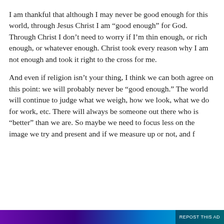I am thankful that although I may never be good enough for this world, through Jesus Christ I am “good enough” for God. Through Christ I don’t need to worry if I’m thin enough, or rich enough, or whatever enough. Christ took every reason why I am not enough and took it right to the cross for me.
And even if religion isn’t your thing, I think we can both agree on this point: we will probably never be “good enough.” The world will continue to judge what we weigh, how we look, what we do for work, etc. There will always be someone out there who is “better” than we are. So maybe we need to focus less on the image we try and present and if we measure up or not, and f
Privacy & Cookies: This site uses cookies. By continuing to use this website, you agree to their use.
To find out more, including how to control cookies, see here: Cookie Policy
Close and accept